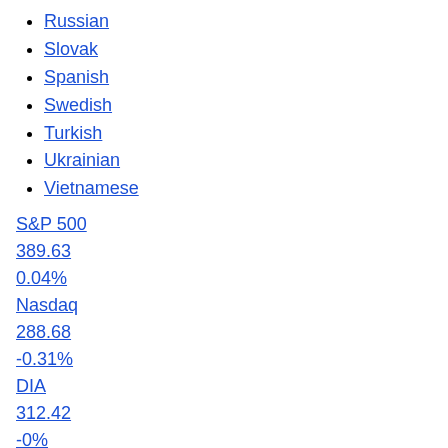Russian
Slovak
Spanish
Swedish
Turkish
Ukrainian
Vietnamese
S&P 500
389.63
0.04%
Nasdaq
288.68
-0.31%
DIA
312.42
-0%
Russell 2000
176.08
-0.25%
TRUTH AND TRADITION
EpochTV
US
Politics